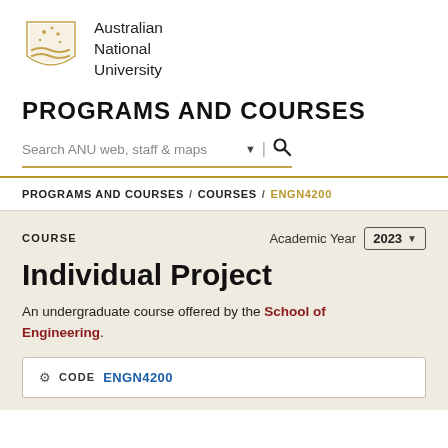[Figure (logo): Australian National University crest logo — gold shield with Southern Cross stars and wave motifs]
Australian National University
PROGRAMS AND COURSES
Search ANU web, staff & maps
PROGRAMS AND COURSES / COURSES / ENGN4200
COURSE
Academic Year 2023
Individual Project
An undergraduate course offered by the School of Engineering.
CODE ENGN4200